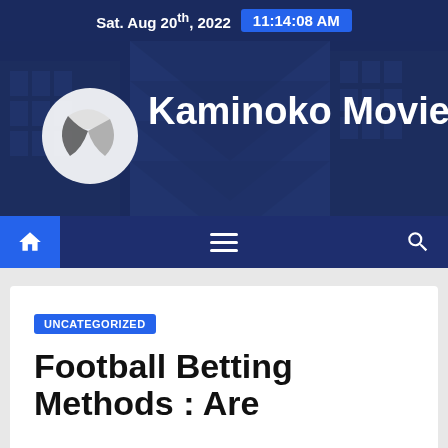Sat. Aug 20th, 2022  11:14:08 AM
[Figure (screenshot): Kaminoko Movie website header banner with building/skyscraper background and logo]
[Figure (screenshot): Navigation bar with home icon, hamburger menu, and search icon]
UNCATEGORIZED
Football Betting Methods : Are